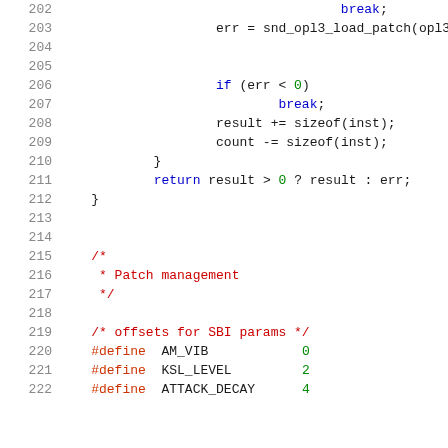Source code listing, lines 202-222, C code with syntax highlighting showing OPL3 patch loading function and SBI parameter defines